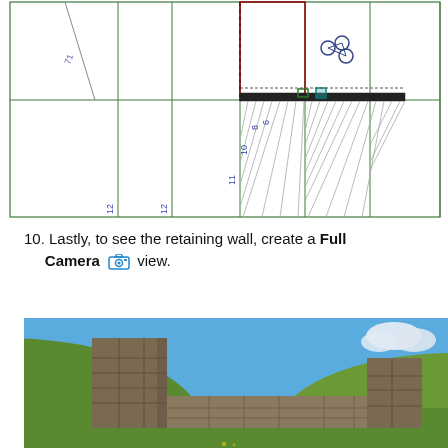[Figure (engineering-diagram): Top-down architectural/engineering CAD plan view showing retaining wall layout with numbered grid lines (6, 8, 10, 11, 12, 71) and wall elements in green and dark outlines. A small cluster icon (nodes/connections) visible in upper right quadrant.]
10. Lastly, to see the retaining wall, create a Full Camera view.
[Figure (photo): 3D rendered camera view of a retaining wall made of stone/masonry blocks on a green grassy hillside under a blue sky with white clouds. The wall shows multiple stone columns and horizontal sections.]